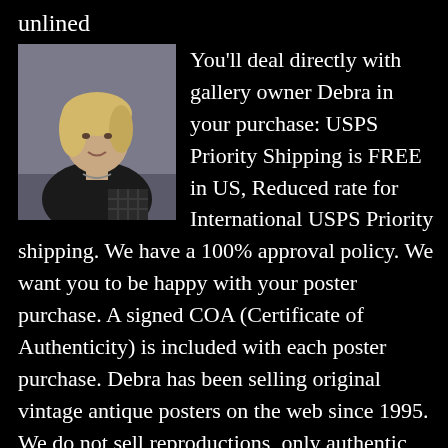unlined
[Figure (photo): Photo of gallery owner Debra, a woman with blonde hair wearing a dark jacket, shown from the shoulders up]
You'll deal directly with gallery owner Debra in your purchase: USPS Priority Shipping is FREE in US, Reduced rate for International USPS Priority shipping. We have a 100% approval policy. We want you to be happy with your poster purchase. A signed COA (Certificate of Authenticity) is included with each poster purchase. Debra has been selling original vintage antique posters on the web since 1995. We do not sell reproductions, only authentic antique posters.